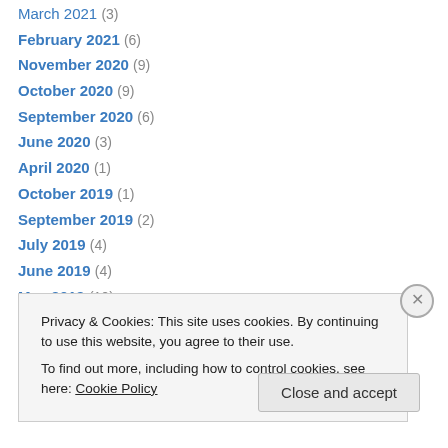March 2021 (3)
February 2021 (6)
November 2020 (9)
October 2020 (9)
September 2020 (6)
June 2020 (3)
April 2020 (1)
October 2019 (1)
September 2019 (2)
July 2019 (4)
June 2019 (4)
May 2019 (10)
April 2019 (4)
March 2019 (5)
Privacy & Cookies: This site uses cookies. By continuing to use this website, you agree to their use.
To find out more, including how to control cookies, see here: Cookie Policy
Close and accept